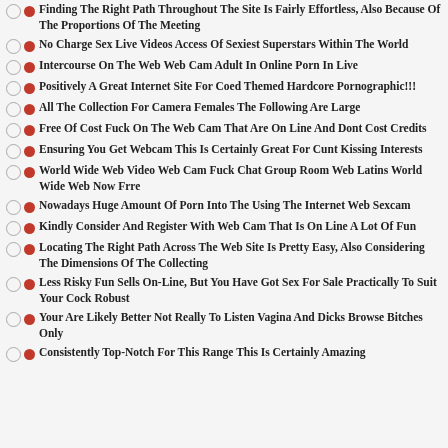Finding The Right Path Throughout The Site Is Fairly Effortless, Also Because Of The Proportions Of The Meeting
No Charge Sex Live Videos Access Of Sexiest Superstars Within The World
Intercourse On The Web Web Cam Adult In Online Porn In Live
Positively A Great Internet Site For Coed Themed Hardcore Pornographic!!!
All The Collection For Camera Females The Following Are Large
Free Of Cost Fuck On The Web Cam That Are On Line And Dont Cost Credits
Ensuring You Get Webcam This Is Certainly Great For Cunt Kissing Interests
World Wide Web Video Web Cam Fuck Chat Group Room Web Latins World Wide Web Now Frre
Nowadays Huge Amount Of Porn Into The Using The Internet Web Sexcam
Kindly Consider And Register With Web Cam That Is On Line A Lot Of Fun
Locating The Right Path Across The Web Site Is Pretty Easy, Also Considering The Dimensions Of The Collecting
Less Risky Fun Sells On-Line, But You Have Got Sex For Sale Practically To Suit Your Cock Robust
Your Are Likely Better Not Really To Listen Vagina And Dicks Browse Bitches Only
Consistently Top-Notch For This Range This Is Certainly Amazing